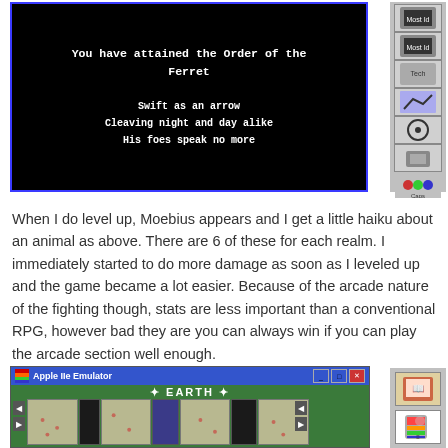[Figure (screenshot): Apple IIe emulator screenshot showing a black game screen with white bold monospace text: 'You have attained the Order of the Ferret' and haiku 'Swift as an arrow / Cleaving night and day alike / His foes speak no more'. Sidebar with icons on the right.]
When I do level up, Moebius appears and I get a little haiku about an animal as above. There are 6 of these for each realm. I immediately started to do more damage as soon as I leveled up and the game became a lot easier. Because of the arcade nature of the fighting though, stats are less important than a conventional RPG, however bad they are you can always win if you can play the arcade section well enough.
[Figure (screenshot): Apple IIe Emulator window showing a top-down map view with 'EARTH' title, green background with grid of map cells, navigation arrows, and sidebar with book and Apple logo icons.]